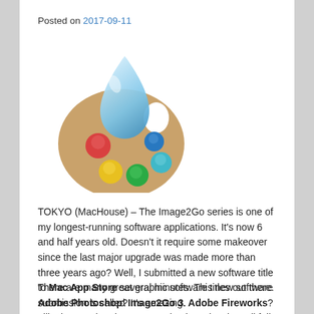Posted on 2017-09-11
[Figure (illustration): App icon: a painter's palette (tan/brown) with colorful paint blobs (red, yellow, green, teal, blue) and a large water droplet on top]
TOKYO (MacHouse) – The Image2Go series is one of my longest-running software applications. It's now 6 and half years old. Doesn't it require some makeover since the last major upgrade was made more than three years ago? Well, I submitted a new software title to Mac App Store several minutes. This new software submission is called Image2Go 3.
There are many great graphic software titles out there. Adobe Photoshop? It's amazing. Adobe Fireworks? I like it. But when it comes to simple tasks, they all fail. They may let you run a macro to quickly process a bunch